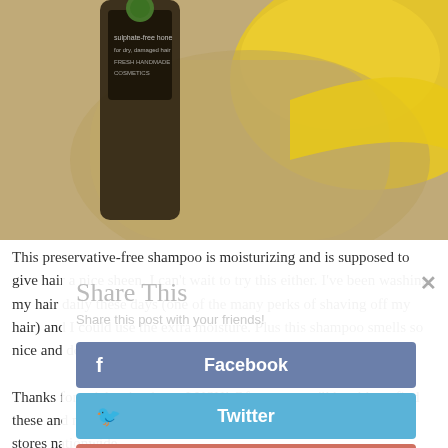[Figure (photo): Close-up photo of a LUSH Fresh Handmade Cosmetics bottle (dark brown/black label) next to a sandy/yellow bath or shampoo bar product with bright yellow color visible.]
This preservative-free shampoo is moisturizing and is supposed to give hair a nice sheen. I can't wait to try this either. I've been washing my hair daily these days (one of the many perks of shaving off my hair) and I could use the extra moisture. Plus this shampoo smells so nice and doesn't have an obviously strong smell.

Thanks for celebrating bees, LUSH! Of course you'll be able to find these and more honey-inspired products at LUSH.com and LUSH stores nationwide
[Figure (screenshot): Share This overlay dialog with buttons for Facebook, Twitter, Google+, StumbleUpon, and Pinterest social sharing.]